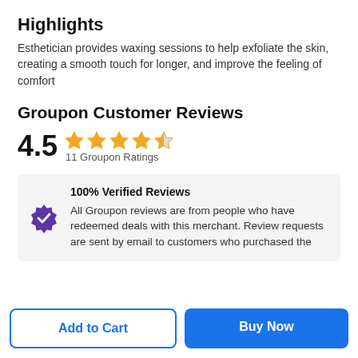Highlights
Esthetician provides waxing sessions to help exfoliate the skin, creating a smooth touch for longer, and improve the feeling of comfort
Groupon Customer Reviews
4.5 ★★★★½ 11 Groupon Ratings
100% Verified Reviews
All Groupon reviews are from people who have redeemed deals with this merchant. Review requests are sent by email to customers who purchased the
Add to Cart
Buy Now